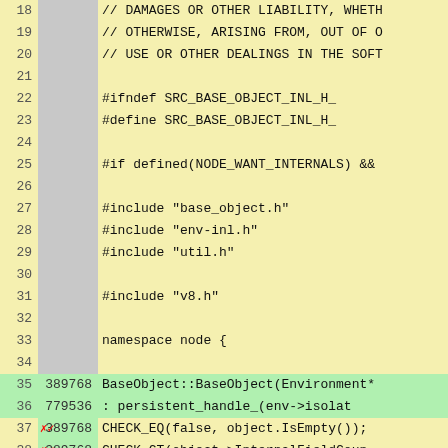[Figure (screenshot): Code coverage view of a C++ source file (base_object-inl.h), showing line numbers, execution counts, and source code. Lines 18-43 are visible. Lines 35-36, 39, 42-43 are highlighted green (executed). Lines 37-38 show red X/checkmark markers. The code shows preprocessor directives, includes, namespace node, and BaseObject constructor implementation.]